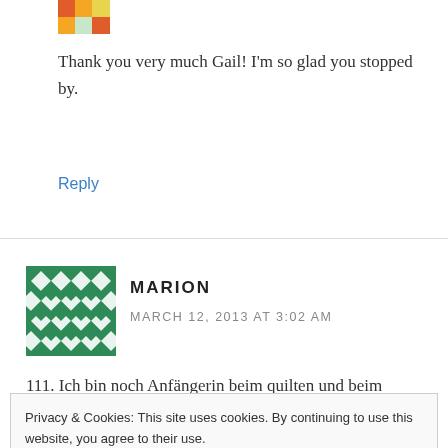[Figure (illustration): Small colorful avatar image (partially visible at top)]
Thank you very much Gail! I'm so glad you stopped by.
Reply
[Figure (illustration): Green quilt-pattern avatar for Marion]
MARION
MARCH 12, 2013 AT 3:02 AM
111. Ich bin noch Anfängerin beim quilten und beim
Privacy & Cookies: This site uses cookies. By continuing to use this website, you agree to their use.
To find out more, including how to control cookies, see here: Cookie Policy
Close and accept